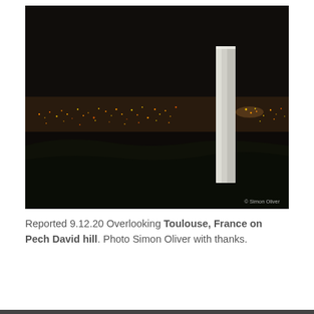[Figure (photo): Night photograph of a tall metallic monolith standing on Pech David hill overlooking the city lights of Toulouse, France. The sky is very dark, the city lights are visible in the distance, and the monolith is bright white/silver against the dark background. A copyright notice '© Simon Oliver' appears in the lower right corner of the image.]
Reported 9.12.20 Overlooking Toulouse, France on Pech David hill. Photo Simon Oliver with thanks.